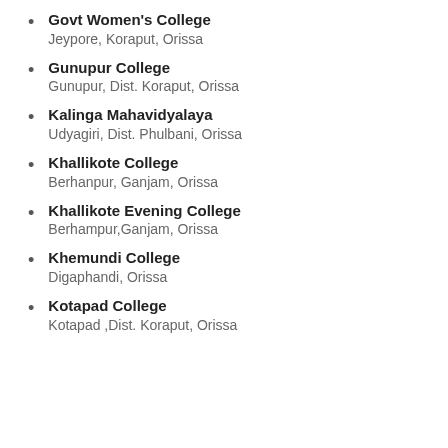Govt Women's College
Jeypore, Koraput, Orissa
Gunupur College
Gunupur, Dist. Koraput, Orissa
Kalinga Mahavidyalaya
Udyagiri, Dist. Phulbani, Orissa
Khallikote College
Berhanpur, Ganjam, Orissa
Khallikote Evening College
Berhampur,Ganjam, Orissa
Khemundi College
Digaphandi, Orissa
Kotapad College
Kotapad ,Dist. Koraput, Orissa